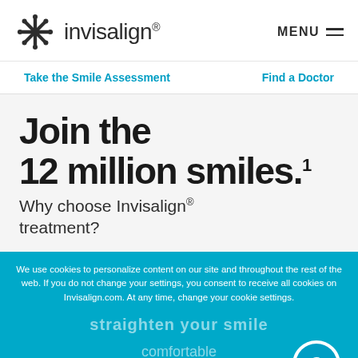[Figure (logo): Invisalign snowflake logo and brand name with MENU button]
Take the Smile Assessment    Find a Doctor
Join the 12 million smiles.¹
Why choose Invisalign® treatment?
We use cookies to personalize content on our site and throughout the rest of the web. If you do not change your settings, you consent to receive all cookies on Invisalign.com. At any time, change your cookie settings.
straighten your smile comfortable Continue